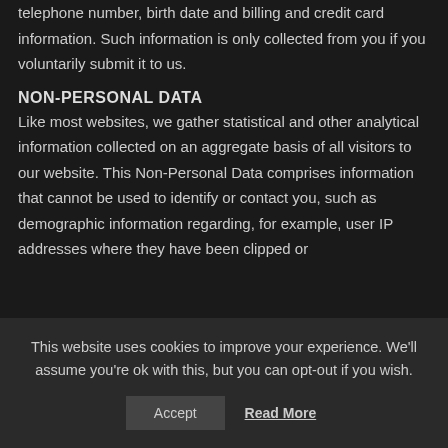telephone number, birth date and billing and credit card information. Such information is only collected from you if you voluntarily submit it to us.
NON-PERSONAL DATA
Like most websites, we gather statistical and other analytical information collected on an aggregate basis of all visitors to our website. This Non-Personal Data comprises information that cannot be used to identify or contact you, such as demographic information regarding, for example, user IP addresses where they have been clipped or
This website uses cookies to improve your experience. We'll assume you're ok with this, but you can opt-out if you wish.